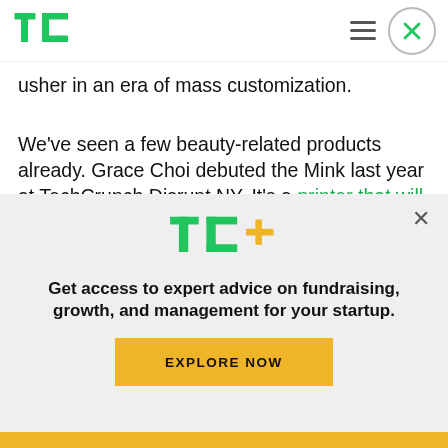TechCrunch header with logo, hamburger menu, and close button
usher in an era of mass customization.
We've seen a few beauty-related products already. Grace Choi debuted the Mink last year at TechCrunch Disrupt NY. It's a printer that will make your own custom shades of make-up. I've also written about more serious, custom-printed health care products like YC-backed Standard Cyborg
[Figure (screenshot): TechCrunch+ paywall overlay with TC+ logo, headline 'Get access to expert advice on fundraising, growth, and management for your startup.' and an EXPLORE NOW button]
Yellow bar at bottom